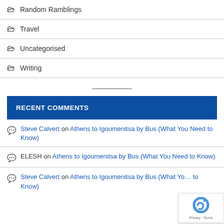📁 Random Ramblings
📁 Travel
📁 Uncategorised
📁 Writing
RECENT COMMENTS
Steve Calvert on Athens to Igoumenitsa by Bus (What You Need to Know)
ELESH on Athens to Igoumenitsa by Bus (What You Need to Know)
Steve Calvert on Athens to Igoumenitsa by Bus (What You Need to Know)